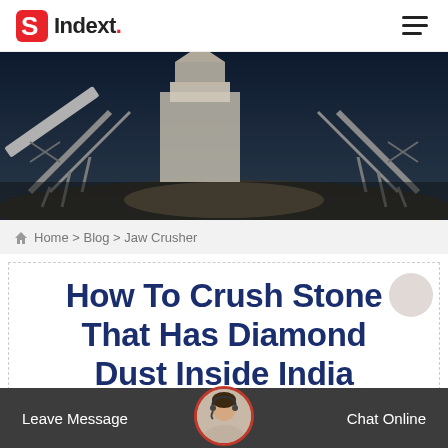Indext.
[Figure (photo): Industrial stone crusher / quarry machinery facility with conveyor belts against a dark sky]
Home > Blog > Jaw Crusher
How To Crush Stone That Has Diamond Dust Inside India Crusher
[Figure (photo): Customer service agent avatar with headset in circular frame with red border]
Leave Message   Chat Online